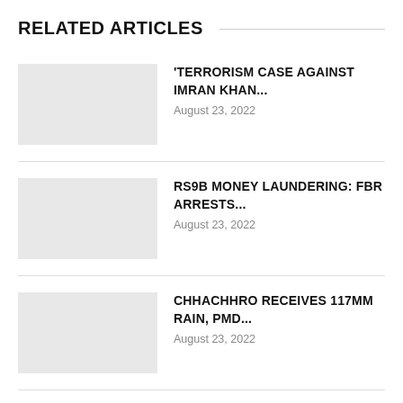RELATED ARTICLES
'TERRORISM CASE AGAINST IMRAN KHAN...
August 23, 2022
RS9B MONEY LAUNDERING: FBR ARRESTS...
August 23, 2022
CHHACHHRO RECEIVES 117MM RAIN, PMD...
August 23, 2022
PAKISTAN ARMY CONTINUES FLOOD